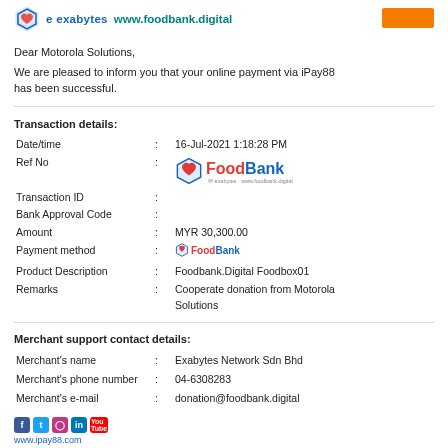exabytes www.foodbank.digital
Dear Motorola Solutions,
We are pleased to inform you that your online payment via iPay88 has been successful.
Transaction details:
| Field |  | Value |
| --- | --- | --- |
| Date/time | : | 16-Jul-2021 1:18:28 PM |
| Ref No | : |  |
| Transaction ID | : | [FoodBank logo] |
| Bank Approval Code | : |  |
| Amount | : | MYR 30,300.00 |
| Payment method | : | [FoodBank small logo] |
| Product Description | : | Foodbank.Digital Foodbox01 |
| Remarks | : | Cooperate donation from Motorola Solutions |
Merchant support contact details:
| Field |  | Value |
| --- | --- | --- |
| Merchant's name | : | Exabytes Network Sdn Bhd |
| Merchant's phone number | : | 04-6308283 |
| Merchant's e-mail | : | donation@foodbank.digital |
www.ipay88.com